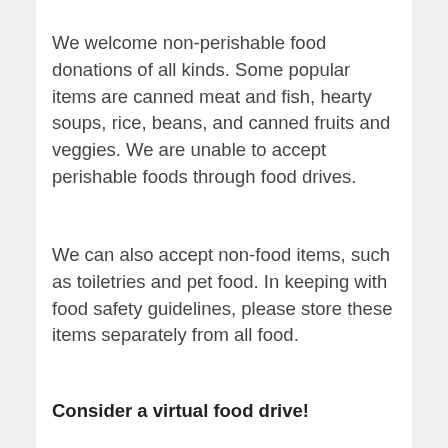We welcome non-perishable food donations of all kinds. Some popular items are canned meat and fish, hearty soups, rice, beans, and canned fruits and veggies. We are unable to accept perishable foods through food drives.
We can also accept non-food items, such as toiletries and pet food. In keeping with food safety guidelines, please store these items separately from all food.
Consider a virtual food drive!
The easiest way to maximize your impact is through a monetary contribution. Because of our ability to purchase in bulk, our partnerships with local retail donors, and our hard working food procurement team, we